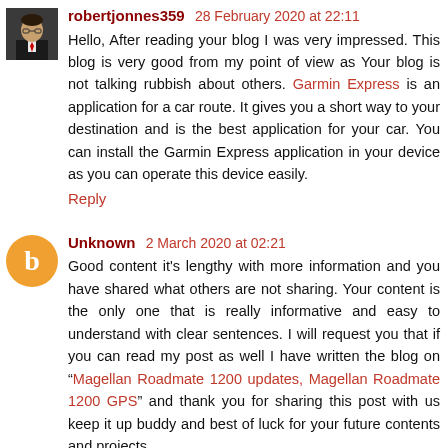robertjonnes359 28 February 2020 at 22:11
Hello, After reading your blog I was very impressed. This blog is very good from my point of view as Your blog is not talking rubbish about others. Garmin Express is an application for a car route. It gives you a short way to your destination and is the best application for your car. You can install the Garmin Express application in your device as you can operate this device easily.
Reply
Unknown 2 March 2020 at 02:21
Good content it's lengthy with more information and you have shared what others are not sharing. Your content is the only one that is really informative and easy to understand with clear sentences. I will request you that if you can read my post as well I have written the blog on "Magellan Roadmate 1200 updates, Magellan Roadmate 1200 GPS" and thank you for sharing this post with us keep it up buddy and best of luck for your future contents and projects.